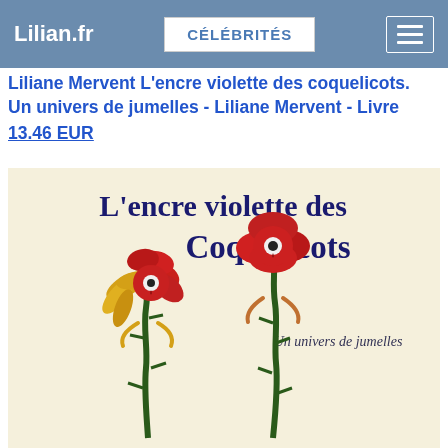Lilian.fr  CÉLÉBRITÉS
Liliane Mervent L'encre violette des coquelicots. Un univers de jumelles - Liliane Mervent - Livre
13.46 EUR
[Figure (illustration): Book cover illustration showing two anthropomorphic poppy flowers with human faces on green stems against a cream background. Left flower has yellow/golden hair-like petals, right flower is a red poppy. Title text reads 'L'encre violette des Coquelicots' in dark blue, with subtitle 'Un univers de jumelles' in smaller text.]